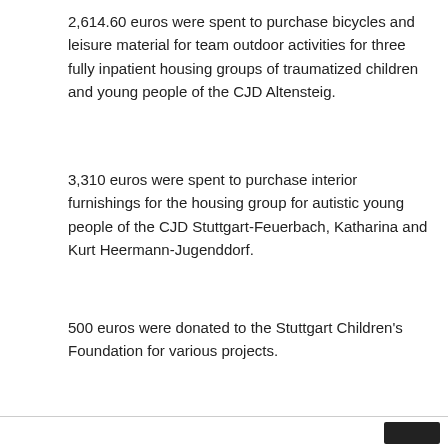2,614.60 euros were spent to purchase bicycles and leisure material for team outdoor activities for three fully inpatient housing groups of traumatized children and young people of the CJD Altensteig.
3,310 euros were spent to purchase interior furnishings for the housing group for autistic young people of the CJD Stuttgart-Feuerbach, Katharina and Kurt Heermann-Jugenddorf.
500 euros were donated to the Stuttgart Children's Foundation for various projects.
My hope is that in 2021 we continue to work together to support children in need.